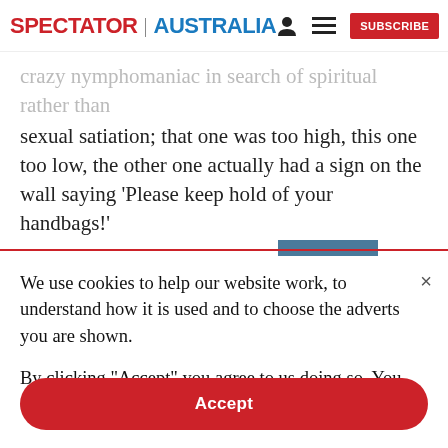SPECTATOR | AUSTRALIA
crazy nymphomaniac in search of spiritual rather than sexual satiation; that one was too high, this one too low, the other one actually had a sign on the wall saying ‘Please keep hold of your handbags!’
We use cookies to help our website work, to understand how it is used and to choose the adverts you are shown.

By clicking "Accept" you agree to us doing so. You can read more in our privacy policy.
Accept